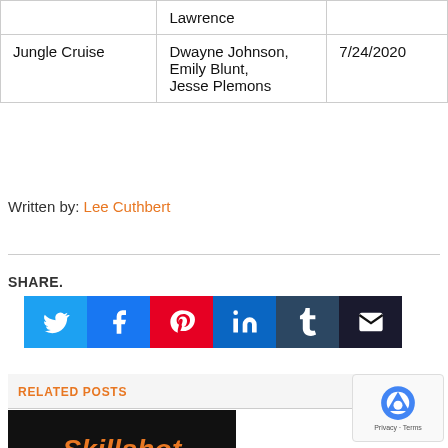|  |  |  |
| --- | --- | --- |
|  | Lawrence |  |
| Jungle Cruise | Dwayne Johnson,
Emily Blunt,
Jesse Plemons | 7/24/2020 |
Written by: Lee Cuthbert
SHARE.
[Figure (other): Social share buttons: Twitter, Facebook, Pinterest, LinkedIn, Tumblr, Email]
RELATED POSTS
[Figure (logo): Skillshot logo on black background with orange italic text]
[Figure (other): Google reCAPTCHA badge with Privacy and Terms links]